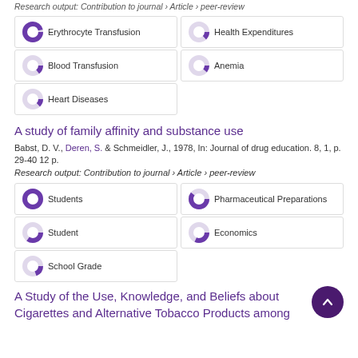Research output: Contribution to journal › Article › peer-review
Erythrocyte Transfusion
Health Expenditures
Blood Transfusion
Anemia
Heart Diseases
A study of family affinity and substance use
Babst, D. V., Deren, S. & Schmeidler, J., 1978, In: Journal of drug education. 8, 1, p. 29-40 12 p.
Research output: Contribution to journal › Article › peer-review
Students
Pharmaceutical Preparations
Student
Economics
School Grade
A Study of the Use, Knowledge, and Beliefs about Cigarettes and Alternative Tobacco Products among